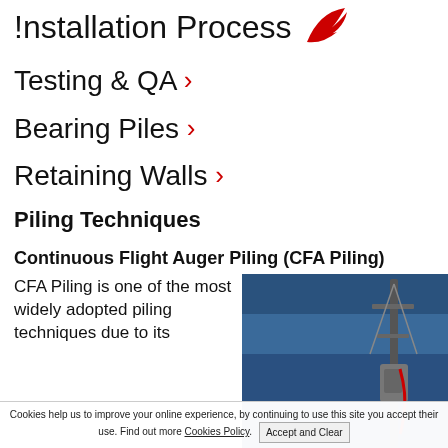Installation Process
Testing & QA
Bearing Piles
Retaining Walls
Piling Techniques
Continuous Flight Auger Piling (CFA Piling)
CFA Piling is one of the most widely adopted piling techniques due to its
[Figure (photo): A continuous flight auger piling rig against a blue sky background]
Cookies help us to improve your online experience, by continuing to use this site you accept their use. Find out more Cookies Policy. Accept and Clear